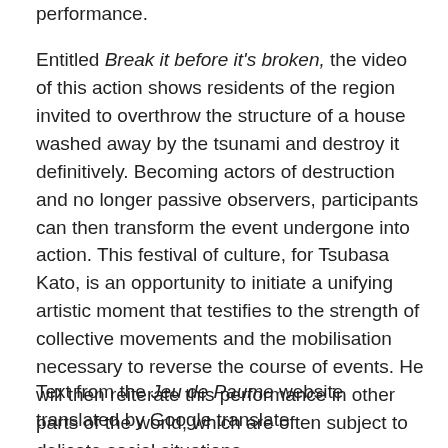performance.
Entitled Break it before it's broken, the video of this action shows residents of the region invited to overthrow the structure of a house washed away by the tsunami and destroy it definitively. Becoming actors of destruction and no longer passive observers, participants can then transform the event undergone into action. This festival of culture, for Tsubasa Kato, is an opportunity to initiate a unifying artistic moment that testifies to the strength of collective movements and the mobilisation necessary to reverse the course of events. He will then reiterate this performance in other parts of the world, which are often subject to delicate social situations.
Text from the Jeu de Paume website translated by Google translate